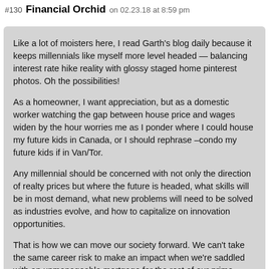#130 Financial Orchid on 02.23.18 at 8:59 pm
Like a lot of moisters here, I read Garth's blog daily because it keeps millennials like myself more level headed — balancing interest rate hike reality with glossy staged home pinterest photos. Oh the possibilities!
As a homeowner, I want appreciation, but as a domestic worker watching the gap between house price and wages widen by the hour worries me as I ponder where I could house my future kids in Canada, or I should rephrase –condo my future kids if in Van/Tor.
Any millennial should be concerned with not only the direction of realty prices but where the future is headed, what skills will be in most demand, what new problems will need to be solved as industries evolve, and how to capitalize on innovation opportunities.
That is how we can move our society forward. We can't take the same career risk to make an impact when we're saddled with an unmanageable mortgage for the rest of our prime working years.
http://financialorchid.com/how-i-envision-2028-to-look-like